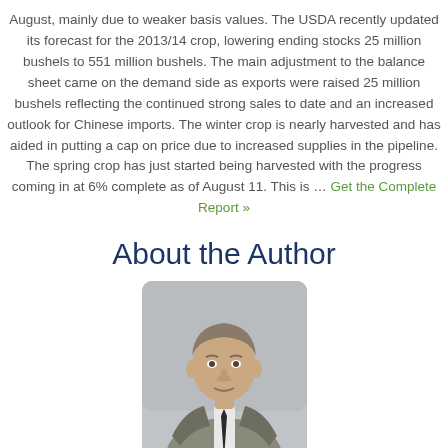August, mainly due to weaker basis values. The USDA recently updated its forecast for the 2013/14 crop, lowering ending stocks 25 million bushels to 551 million bushels. The main adjustment to the balance sheet came on the demand side as exports were raised 25 million bushels reflecting the continued strong sales to date and an increased outlook for Chinese imports. The winter crop is nearly harvested and has aided in putting a cap on price due to increased supplies in the pipeline. The spring crop has just started being harvested with the progress coming in at 6% complete as of August 11. This is … Get the Complete Report »
About the Author
[Figure (photo): Headshot photo of Chip Whalen, a man in a suit and tie]
Chip Whalen